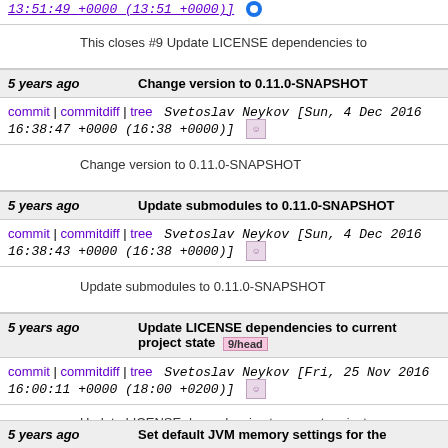13:51:49 +0000 (13:51 +0000)]
This closes #9 Update LICENSE dependencies to
5 years ago   Change version to 0.11.0-SNAPSHOT
commit | commitdiff | tree   Svetoslav Neykov [Sun, 4 Dec 2016 16:38:47 +0000 (16:38 +0000)]
Change version to 0.11.0-SNAPSHOT
5 years ago   Update submodules to 0.11.0-SNAPSHOT
commit | commitdiff | tree   Svetoslav Neykov [Sun, 4 Dec 2016 16:38:43 +0000 (16:38 +0000)]
Update submodules to 0.11.0-SNAPSHOT
5 years ago   Update LICENSE dependencies to current project state  9/head
commit | commitdiff | tree   Svetoslav Neykov [Fri, 25 Nov 2016 16:00:11 +0000 (18:00 +0200)]
Update LICENSE dependencies to current project
5 years ago   Set default JVM memory settings for the